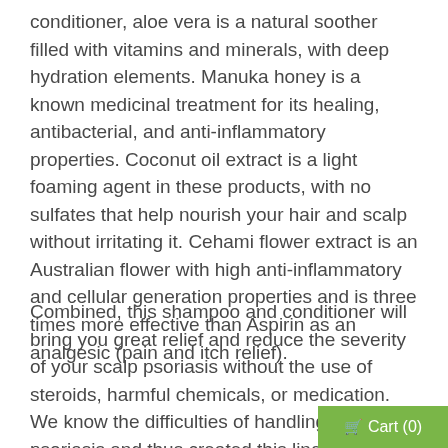conditioner, aloe vera is a natural soother filled with vitamins and minerals, with deep hydration elements. Manuka honey is a known medicinal treatment for its healing, antibacterial, and anti-inflammatory properties. Coconut oil extract is a light foaming agent in these products, with no sulfates that help nourish your hair and scalp without irritating it. Cehami flower extract is an Australian flower with high anti-inflammatory and cellular generation properties and is three times more effective than Aspirin as an analgesic (pain and itch relief).
Combined, this shampoo and conditioner will bring you great relief and reduce the severity of your scalp psoriasis without the use of steroids, harmful chemicals, or medication. We know the difficulties of handling scalp psoriasis and thus created this line to help those suffering from it. No more painful and itchy scalp – benefited naturally! Visit our shop today and feel free to contact us at Wild Naturals for any questions or advice!